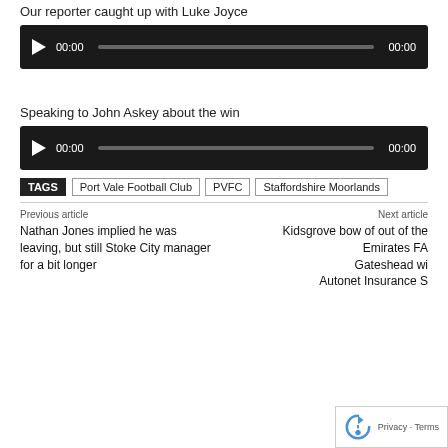Our reporter caught up with Luke Joyce
[Figure (other): Audio player with play button, time 00:00, progress bar, end time 00:00 on dark background]
Speaking to John Askey about the win
[Figure (other): Audio player with play button, time 00:00, progress bar, end time 00:00 on dark background]
TAGS  Port Vale Football Club  PVFC  Staffordshire Moorlands
Previous article
Nathan Jones implied he was leaving, but still Stoke City manager for a bit longer
Next article
Kidsgrove bow of out of the Emirates FA... Gateshead wi... Autonet Insurance S...